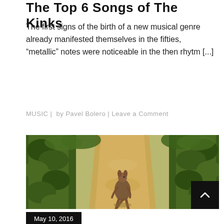The Top 6 Songs of The Kinks
The first signs of the birth of a new musical genre already manifested themselves in the fifties, “metallic” notes were noticeable in the then rhytm [...]
MUSIC |  by Pavel Bolero | Leave a Comment
[Figure (photo): A kangaroo standing in the middle of a vineyard path, flanked by green grapevines on both sides, sunny outdoor scene.]
May 10, 2016